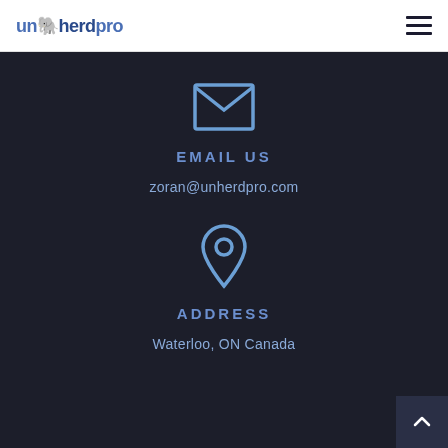unherdpro
[Figure (illustration): Email envelope icon in blue outline style]
EMAIL US
zoran@unherdpro.com
[Figure (illustration): Map pin / location marker icon in blue outline style]
ADDRESS
Waterloo, ON Canada